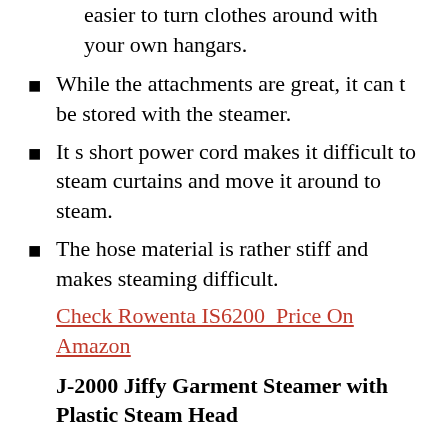easier to turn clothes around with your own hangars.
While the attachments are great, it can t be stored with the steamer.
It s short power cord makes it difficult to steam curtains and move it around to steam.
The hose material is rather stiff and makes steaming difficult.
Check Rowenta IS6200  Price On Amazon
J-2000 Jiffy Garment Steamer with Plastic Steam Head